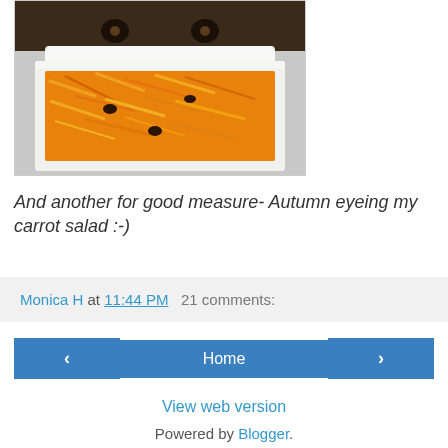[Figure (photo): A dog peering over the edge of a white container filled with shredded carrot salad]
And another for good measure- Autumn eyeing my carrot salad :-)
Monica H at 11:44 PM   21 comments:
‹  Home  ›
View web version
Powered by Blogger.